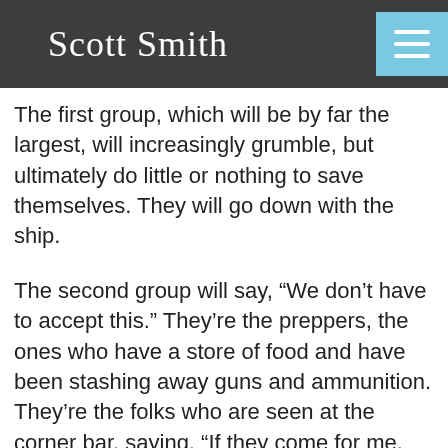Scott Smith
The first group, which will be by far the largest, will increasingly grumble, but ultimately do little or nothing to save themselves. They will go down with the ship.
The second group will say, “We don’t have to accept this.” They’re the preppers, the ones who have a store of food and have been stashing away guns and ammunition. They’re the folks who are seen at the corner bar, saying, “If they come for me, I’m locked and loaded.”
Their friends nod in agreement, but in fact, if a